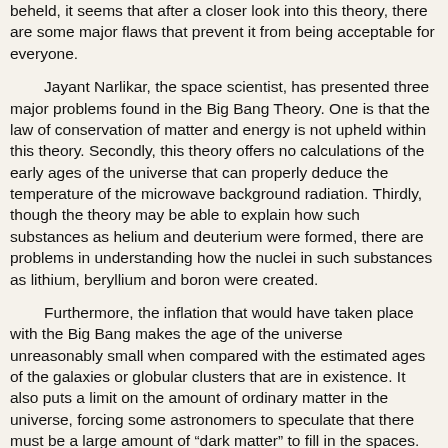beheld, it seems that after a closer look into this theory, there are some major flaws that prevent it from being acceptable for everyone.
Jayant Narlikar, the space scientist, has presented three major problems found in the Big Bang Theory. One is that the law of conservation of matter and energy is not upheld within this theory. Secondly, this theory offers no calculations of the early ages of the universe that can properly deduce the temperature of the microwave background radiation. Thirdly, though the theory may be able to explain how such substances as helium and deuterium were formed, there are problems in understanding how the nuclei in such substances as lithium, beryllium and boron were created.
Furthermore, the inflation that would have taken place with the Big Bang makes the age of the universe unreasonably small when compared with the estimated ages of the galaxies or globular clusters that are in existence. It also puts a limit on the amount of ordinary matter in the universe, forcing some astronomers to speculate that there must be a large amount of “dark matter” to fill in the spaces. But such dark matter cannot account for the observable superclusters and galaxies, says Anthony Peratt, a physicist at Los Alamos National Laboratory. Thus, the superclusters